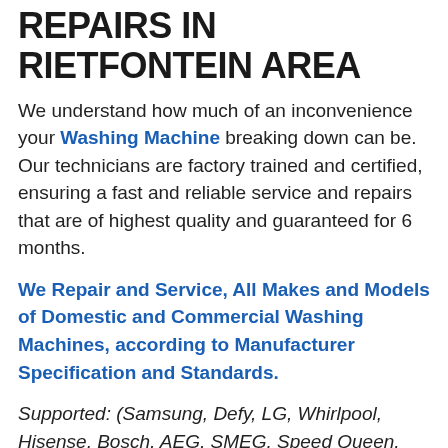REPAIRS IN RIETFONTEIN AREA
We understand how much of an inconvenience your Washing Machine breaking down can be. Our technicians are factory trained and certified, ensuring a fast and reliable service and repairs that are of highest quality and guaranteed for 6 months.
We Repair and Service, All Makes and Models of Domestic and Commercial Washing Machines, according to Manufacturer Specification and Standards.
Supported: (Samsung, Defy, LG, Whirlpool, Hisense, Bosch, AEG, SMEG, Speed Queen, Kelvinator and others)